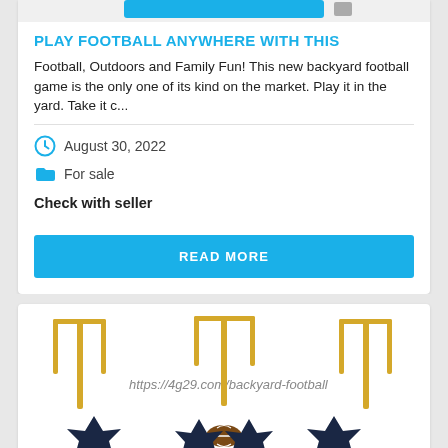[Figure (screenshot): Partial top image of a product listing (cropped, showing bottom edge of an image)]
PLAY FOOTBALL ANYWHERE WITH THIS
Football, Outdoors and Family Fun! This new backyard football game is the only one of its kind on the market. Play it in the yard. Take it c...
August 30, 2022
For sale
Check with seller
READ MORE
[Figure (photo): Photo of a backyard football game set with goal posts and football, URL watermark: https://4g29.com/backyard-football]